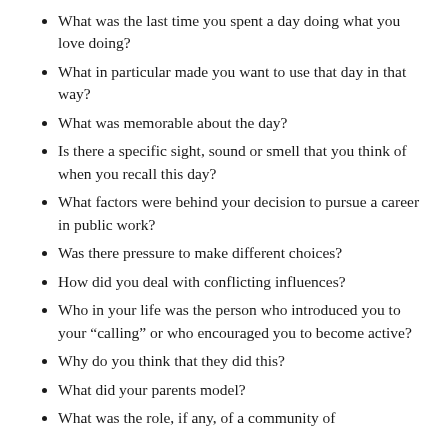What was the last time you spent a day doing what you love doing?
What in particular made you want to use that day in that way?
What was memorable about the day?
Is there a specific sight, sound or smell that you think of when you recall this day?
What factors were behind your decision to pursue a career in public work?
Was there pressure to make different choices?
How did you deal with conflicting influences?
Who in your life was the person who introduced you to your “calling” or who encouraged you to become active?
Why do you think that they did this?
What did your parents model?
What was the role, if any, of a community of